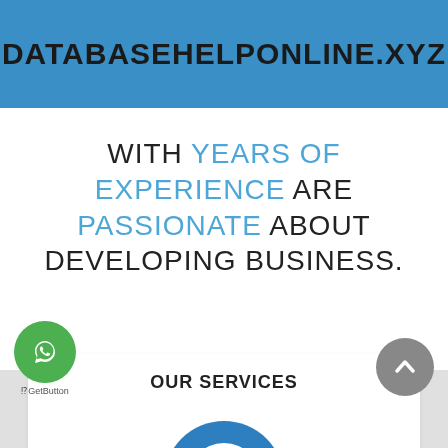DATABASEHELPONLINE.XYZ
WITH YEARS OF EXPERIENCE ARE PASSIONATE ABOUT DEVELOPING BUSINESS.
OUR SERVICES
[Figure (illustration): Partial circular icon/logo, blue arc shape visible at bottom of page, part of services section]
[Figure (logo): WhatsApp chat button (green circle with phone icon) and GetButton label]
[Figure (other): Scroll-to-top button, dark gray circle with upward chevron arrow]